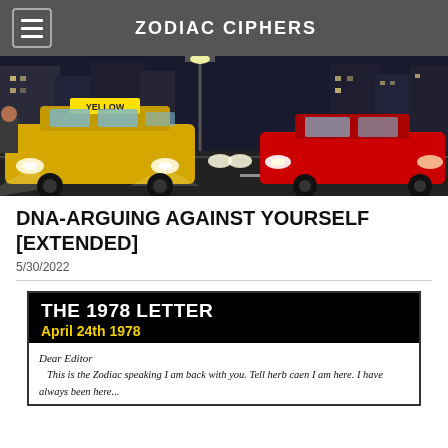ZODIAC CIPHERS
[Figure (photo): Night street scene with a yellow taxi cab on the left and a red car on the right, city buildings in background with street lights.]
DNA-ARGUING AGAINST YOURSELF [EXTENDED]
5/30/2022
[Figure (photo): Image titled 'THE 1978 LETTER - April 24th 1978' showing a handwritten letter beginning: 'Dear Editor, This is the Zodiac speaking I am back with you. Tell herb caen I am here. I have always been here...']